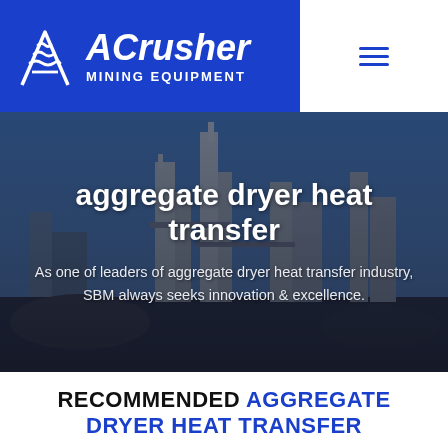[Figure (logo): ACrusher Mining Equipment logo — white italic text on blue background with wave/mountain icon]
[Figure (photo): Industrial mining/aggregate plant facility with silos and towers against a blue sky, darkened with overlay]
aggregate dryer heat transfer
As one of leaders of aggregate dryer heat transfer industry, SBM always seeks innovation & excellence.
RECOMMENDED AGGREGATE DRYER HEAT TRANSFER